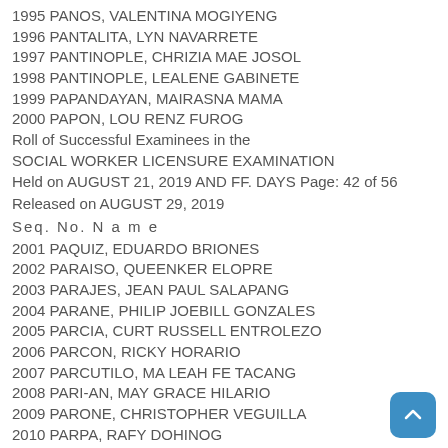1995 PANOS, VALENTINA MOGIYENG
1996 PANTALITA, LYN NAVARRETE
1997 PANTINOPLE, CHRIZIA MAE JOSOL
1998 PANTINOPLE, LEALENE GABINETE
1999 PAPANDAYAN, MAIRASNA MAMA
2000 PAPON, LOU RENZ FUROG
Roll of Successful Examinees in the SOCIAL WORKER LICENSURE EXAMINATION
Held on AUGUST 21, 2019 AND FF. DAYS Page: 42 of 56
Released on AUGUST 29, 2019
Seq. No. N a m e
2001 PAQUIZ, EDUARDO BRIONES
2002 PARAISO, QUEENKER ELOPRE
2003 PARAJES, JEAN PAUL  SALAPANG
2004 PARANE, PHILIP JOEBILL GONZALES
2005 PARCIA, CURT RUSSELL ENTROLEZO
2006 PARCON, RICKY HORARIO
2007 PARCUTILO, MA LEAH FE TACANG
2008 PARI-AN, MAY GRACE HILARIO
2009 PARONE, CHRISTOPHER VEGUILLA
2010 PARPA, RAFY DOHINOG